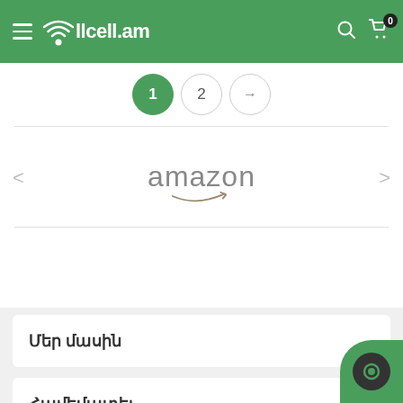Allcell.am navigation bar with hamburger menu, logo, search and cart icons
[Figure (screenshot): Pagination controls: active page 1 (green circle), page 2, and next arrow button]
[Figure (logo): Amazon logo in gray text with orange arrow underneath]
Մեր մասին
Համեմատել